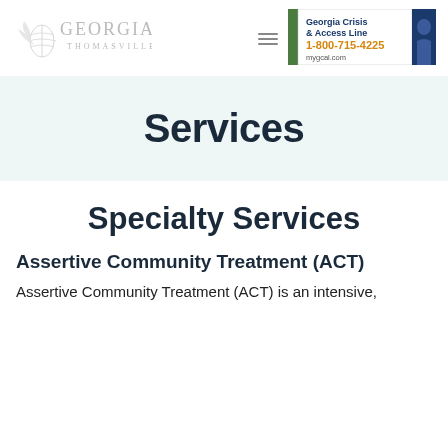[Figure (logo): Georgia Pines Thomasville, GA logo in light gray serif text with decorative pine cone icon]
[Figure (illustration): Georgia Crisis & Access Line banner: green left stripe, white center with title and phone number 1-800-715-4225 and mygcal.com, dark blue right stripe with silhouette]
Services
Specialty Services
Assertive Community Treatment (ACT)
Assertive Community Treatment (ACT) is an intensive,